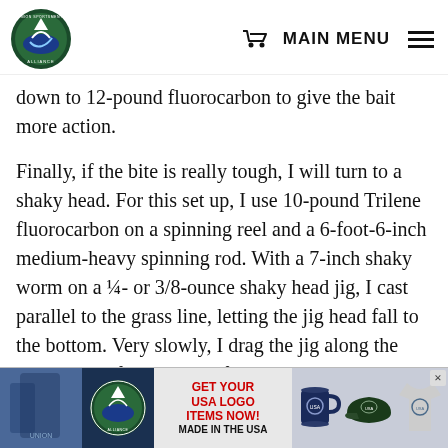Union Sportsmen's Alliance — MAIN MENU
down to 12-pound fluorocarbon to give the bait more action.
Finally, if the bite is really tough, I will turn to a shaky head. For this set up, I use 10-pound Trilene fluorocarbon on a spinning reel and a 6-foot-6-inch medium-heavy spinning rod. With a 7-inch shaky worm on a ¼- or 3/8-ounce shaky head jig, I cast parallel to the grass line, letting the jig head fall to the bottom. Very slowly, I drag the jig along the bottom, careful to keep it from dragging into the grass. This is a very slow technique and not much fun when you are
[Figure (infographic): Advertisement banner for Union Sportsmen's Alliance USA Logo Items. Shows apparel and merchandise photos with text GET YOUR USA LOGO ITEMS NOW! MADE IN THE USA in red. Features logo with eagle/fish design, a navy mug, a dark green cap, and a grey t-shirt.]